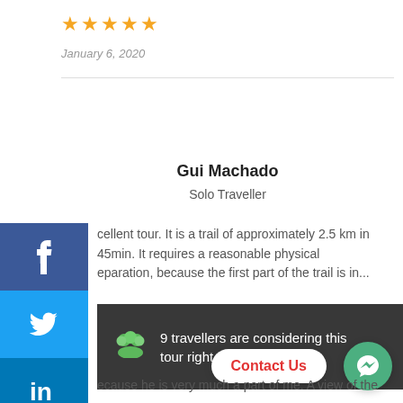[Figure (other): 5 orange star rating icons]
January 6, 2020
Gui Machado
Solo Traveller
…cellent tour. It is a trail of approximately 2.5 km in 45min. It requires a reasonable physical preparation, because the first part of the trail is in… at d… eg t… ffo… e d…
[Figure (infographic): Social media sidebar with Facebook, Twitter, LinkedIn, Instagram icons]
9 travellers are considering this tour right now!
Contact Us
…because he is very much a part of me. A view of the